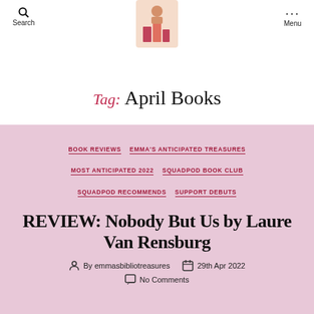Search | Menu
[Figure (illustration): Blog logo: small illustration of books/figures on a light peach background]
Tag: April Books
BOOK REVIEWS
EMMA'S ANTICIPATED TREASURES
MOST ANTICIPATED 2022
SQUADPOD BOOK CLUB
SQUADPOD RECOMMENDS
SUPPORT DEBUTS
REVIEW: Nobody But Us by Laure Van Rensburg
By emmasbibliotreasures
29th Apr 2022
No Comments